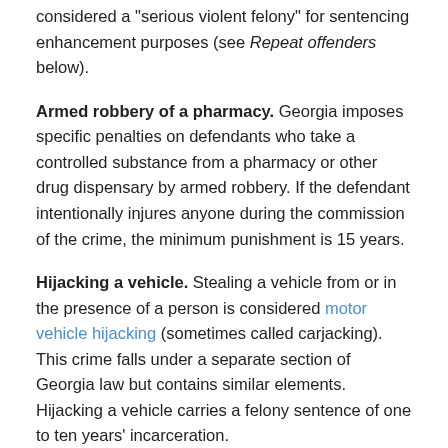considered a "serious violent felony" for sentencing enhancement purposes (see Repeat offenders below).
Armed robbery of a pharmacy. Georgia imposes specific penalties on defendants who take a controlled substance from a pharmacy or other drug dispensary by armed robbery. If the defendant intentionally injures anyone during the commission of the crime, the minimum punishment is 15 years.
Hijacking a vehicle. Stealing a vehicle from or in the presence of a person is considered motor vehicle hijacking (sometimes called carjacking). This crime falls under a separate section of Georgia law but contains similar elements. Hijacking a vehicle carries a felony sentence of one to ten years' incarceration.